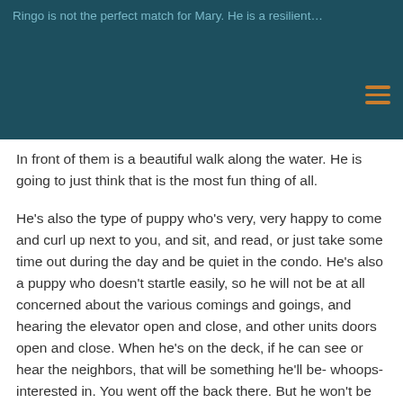Ringo is not the perfect match for Mary. He is a resilient...
In front of them is a beautiful walk along the water. He is going to just think that is the most fun thing of all.
He's also the type of puppy who's very, very happy to come and curl up next to you, and sit, and read, or just take some time out during the day and be quiet in the condo. He's also a puppy who doesn't startle easily, so he will not be at all concerned about the various comings and goings, and hearing the elevator open and close, and other units doors open and close. When he's on the deck, if he can see or hear the neighbors, that will be something he'll be- whoops- interested in. You went off the back there. But he won't be startled or alarmed by it, and he won't be the type of dog who barks.
He's a really great choice for them, and I know that they are just thrilled to bits to have little Ringo join their lives. That's